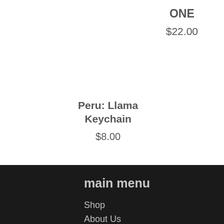ONE
$22.00
Peru: Llama Keychain
$8.00
Peru: Llama Ornament
$8.00
main menu
Shop
About Us